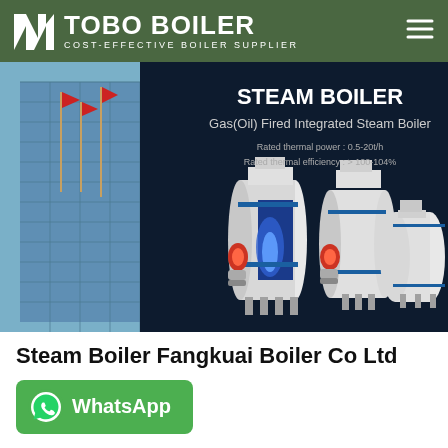TOBO BOILER — COST-EFFECTIVE BOILER SUPPLIER
[Figure (photo): Banner showing steam boilers — Gas(Oil) Fired Integrated Steam Boiler. Rated thermal power: 0.5-20t/h, Rated thermal efficiency: > 100-104%. Background shows a building with flags and three industrial boiler units in foreground against a dark background.]
Steam Boiler Fangkuai Boiler Co Ltd
[Figure (logo): WhatsApp button — green rounded rectangle with WhatsApp logo icon and text 'WhatsApp']
Hot News